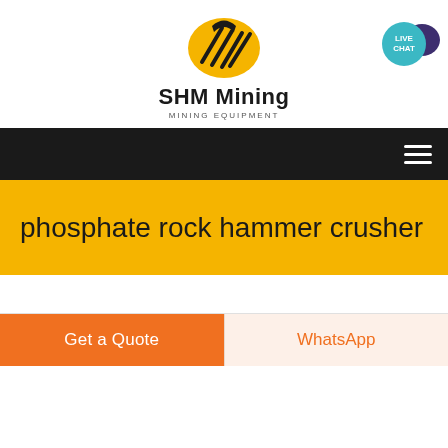[Figure (logo): SHM Mining logo with diagonal lines in yellow oval shape, company name 'SHM Mining' and subtitle 'MINING EQUIPMENT']
[Figure (infographic): Live chat button - teal circle with LIVE CHAT text and dark speech bubble icon]
[Figure (infographic): Dark navigation bar with hamburger menu icon (three white horizontal lines)]
phosphate rock hammer crusher
Get a Quote
WhatsApp